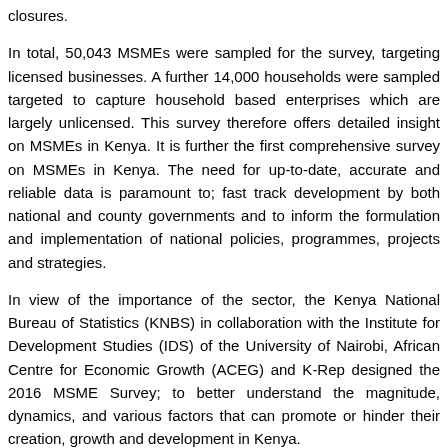closures.
In total, 50,043 MSMEs were sampled for the survey, targeting licensed businesses. A further 14,000 households were sampled targeted to capture household based enterprises which are largely unlicensed. This survey therefore offers detailed insight on MSMEs in Kenya. It is further the first comprehensive survey on MSMEs in Kenya. The need for up-to-date, accurate and reliable data is paramount to; fast track development by both national and county governments and to inform the formulation and implementation of national policies, programmes, projects and strategies.
In view of the importance of the sector, the Kenya National Bureau of Statistics (KNBS) in collaboration with the Institute for Development Studies (IDS) of the University of Nairobi, African Centre for Economic Growth (ACEG) and K-Rep designed the 2016 MSME Survey; to better understand the magnitude, dynamics, and various factors that can promote or hinder their creation, growth and development in Kenya.
Downloads